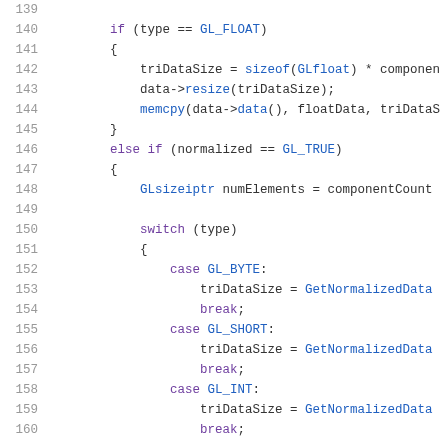[Figure (screenshot): Source code listing showing C/C++ code lines 139-160 with syntax highlighting. Code handles GL_FLOAT type checking and normalized data with a switch statement for GL_BYTE, GL_SHORT, GL_INT cases.]